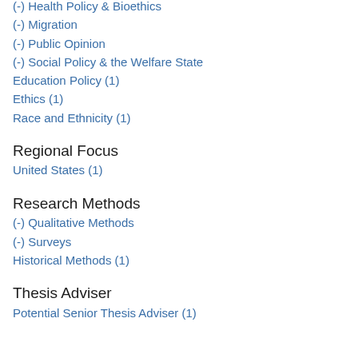(-) Health Policy & Bioethics
(-) Migration
(-) Public Opinion
(-) Social Policy & the Welfare State
Education Policy (1)
Ethics (1)
Race and Ethnicity (1)
Regional Focus
United States (1)
Research Methods
(-) Qualitative Methods
(-) Surveys
Historical Methods (1)
Thesis Adviser
Potential Senior Thesis Adviser (1)